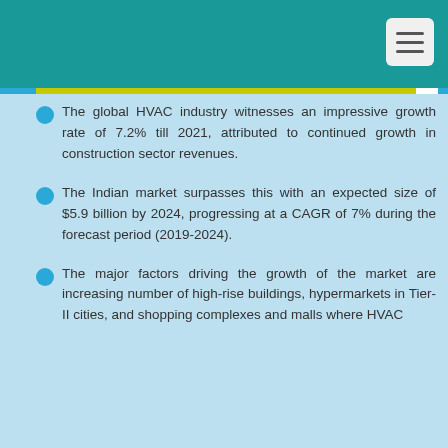The global HVAC industry witnesses an impressive growth rate of 7.2% till 2021, attributed to continued growth in construction sector revenues.
The Indian market surpasses this with an expected size of $5.9 billion by 2024, progressing at a CAGR of 7% during the forecast period (2019-2024).
The major factors driving the growth of the market are increasing number of high-rise buildings, hypermarkets in Tier-II cities, and shopping complexes and malls where HVAC